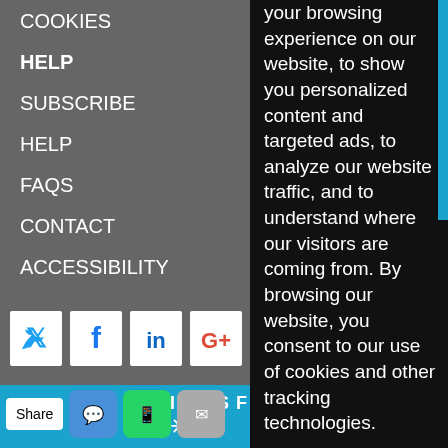COOKIES
HELP
SUBSCRIBE
HELP
FAQS
CONTACT
ACCESSIBILITY
[Figure (other): Social media icons: Twitter, Facebook, LinkedIn, Google+]
your browsing experience on our website, to show you personalized content and targeted ads, to analyze our website traffic, and to understand where our visitors are coming from. By browsing our website, you consent to our use of cookies and other tracking technologies.
I agree
Change my preferences